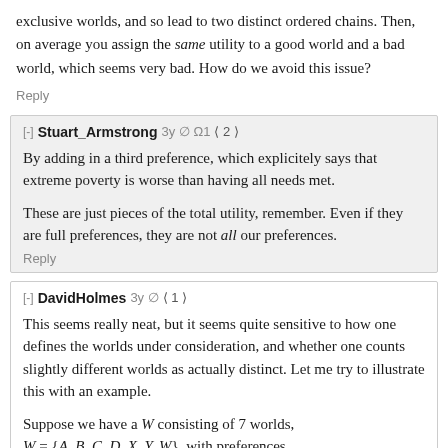exclusive worlds, and so lead to two distinct ordered chains. Then, on average you assign the same utility to a good world and a bad world, which seems very bad. How do we avoid this issue?
Reply
[-] Stuart_Armstrong 3y ∅ Ω1 < 2 >
By adding in a third preference, which explicitely says that extreme poverty is worse than having all needs met.
These are just pieces of the total utility, remember. Even if they are full preferences, they are not all our preferences.
Reply
[-] DavidHolmes 3y ∅ < 1 >
This seems really neat, but it seems quite sensitive to how one defines the worlds under consideration, and whether one counts slightly different worlds as actually distinct. Let me try to illustrate this with an example.
Suppose we have a W consisting of 7 worlds, W = {A, B, C, D, X, Y, W}, with preferences